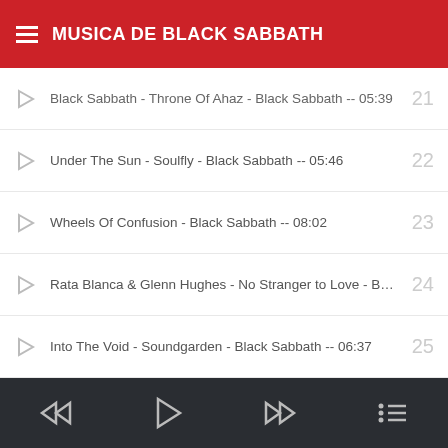MUSICA DE BLACK SABBATH
Black Sabbath - Throne Of Ahaz - Black Sabbath -- 05:39  21
Under The Sun - Soulfly - Black Sabbath -- 05:46  22
Wheels Of Confusion - Black Sabbath -- 08:02  23
Rata Blanca & Glenn Hughes - No Stranger to Love - Black S...  24
Into The Void - Soundgarden - Black Sabbath -- 06:37  25
Black Sabbath (From the Satanic Perspective) - Type o Neg...  26
N.i.b - Primus with Ozzy - Black Sabbath -- 05:58  27
⏮  ▷  ⏭  ☰